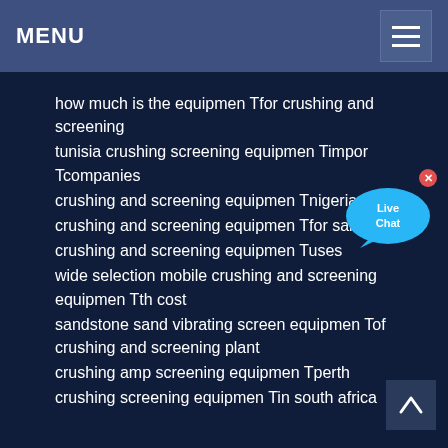MENU
how much is the equipmen Tfor crushing and screening
tunisia crushing screening equipmen Timpor Tcompanies
crushing and screening equipmen Tnigeria
crushing and screening equipmen Tfor sale au
crushing and screening equipmen Tuses
wide selection mobile crushing and screening equipmen Tth cost
sandstone sand vibrating screen equipmen Tof crushing and screening plant
crushing amp screening equipmen Tperth
crushing screening equipmen Tin south africa